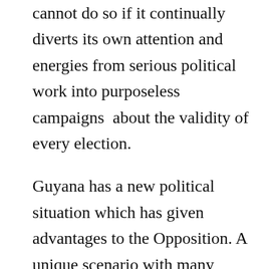cannot do so if it continually diverts its own attention and energies from serious political work into purposeless campaigns  about the validity of every election.
Guyana has a new political situation which has given advantages to the Opposition. A unique scenario with many challenges has materialized. It offers opportunities for creative initiatives, for policy development and deployment, for demonstrating to the nation that it has the capacity to soar above its